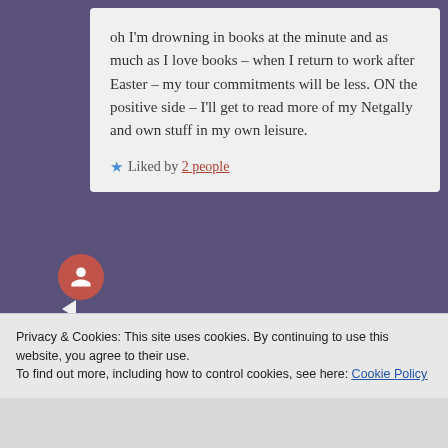oh I'm drowning in books at the minute and as much as I love books – when I return to work after Easter – my tour commitments will be less. ON the positive side – I'll get to read more of my Netgally and own stuff in my own leisure.
Liked by 2 people
Jules_Writes
20th Mar 2019 at 11:44 am
I think that is what I will do to – less commitments and more just reading/blogging at
Privacy & Cookies: This site uses cookies. By continuing to use this website, you agree to their use.
To find out more, including how to control cookies, see here: Cookie Policy
Close and accept